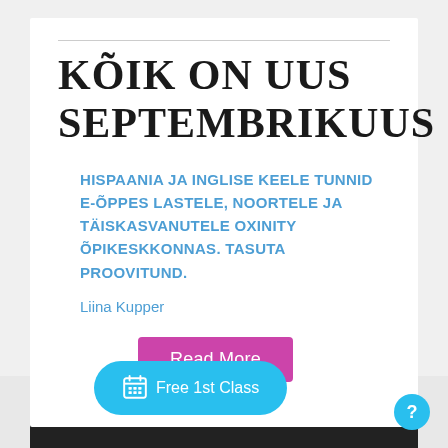KÕIK ON UUS SEPTEMBRIKUUS
HISPAANIA JA INGLISE KEELE TUNNID E-ÕPPES LASTELE, NOORTELE JA TÄISKASVANUTELE OXINITY ÕPIKESKKONNAS. TASUTA PROOVITUND.
Liina Kupper
Read More
Free 1st Class